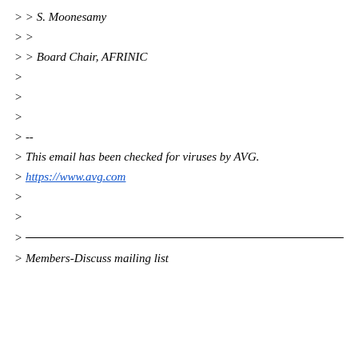> > S. Moonesamy
> >
> > Board Chair, AFRINIC
>
>
>
> --
> This email has been checked for viruses by AVG.
> https://www.avg.com
>
>
>  _______________________________________________
> Members-Discuss mailing list